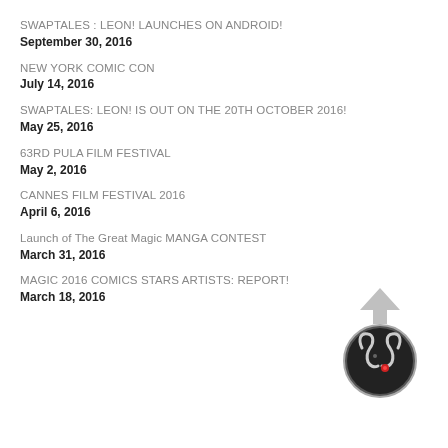SWAPTALES : LEON! LAUNCHES ON ANDROID!
September 30, 2016
NEW YORK COMIC CON
July 14, 2016
SWAPTALES: LEON! IS OUT ON THE 20TH OCTOBER 2016!
May 25, 2016
63RD PULA FILM FESTIVAL
May 2, 2016
CANNES FILM FESTIVAL 2016
April 6, 2016
Launch of The Great Magic MANGA CONTEST
[Figure (logo): Circular logo with stylized swan/serpent design on dark background with upward arrow above]
March 31, 2016
MAGIC 2016 COMICS STARS ARTISTS: REPORT!
March 18, 2016